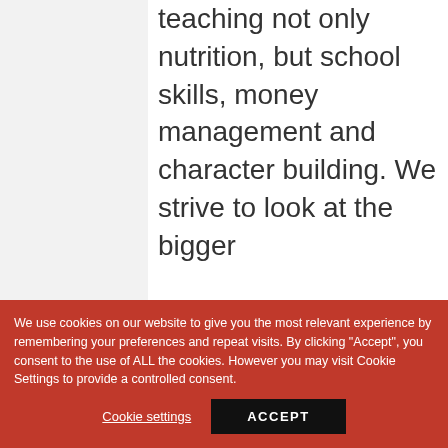teaching not only nutrition, but school skills, money management and character building. We strive to look at the bigger
We use cookies on our website to give you the most relevant experience by remembering your preferences and repeat visits. By clicking "Accept", you consent to the use of ALL the cookies. However you may visit Cookie Settings to provide a controlled consent.